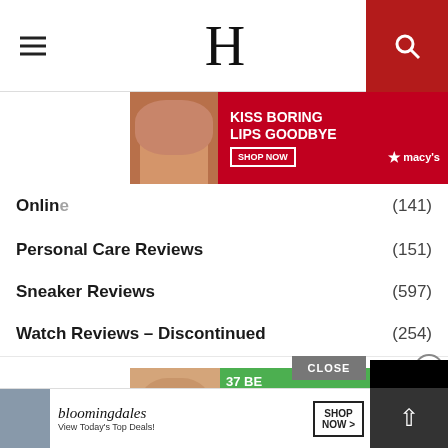H
[Figure (photo): Macy's advertisement banner: KISS BORING LIPS GOODBYE, SHOP NOW, star macys logo, woman with red lips]
Online... (141)
Personal Care Reviews (151)
Sneaker Reviews (597)
Watch Reviews – Discontinued (254)
[Figure (photo): Green advertisement: 37 BE... PRODUC... SUCH GOO... YOU MIGHT... TRY THEM... with smiling woman]
[Figure (photo): Bloomingdale's advertisement: View Today's Top Deals! SHOP NOW >]